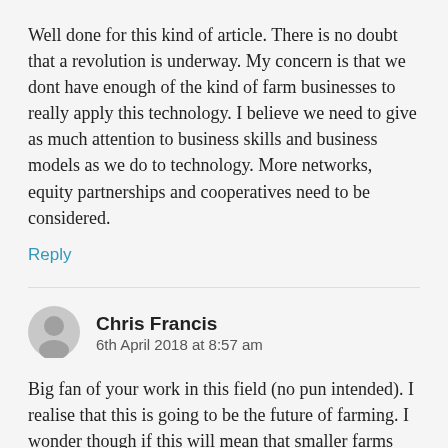Well done for this kind of article. There is no doubt that a revolution is underway. My concern is that we dont have enough of the kind of farm businesses to really apply this technology. I believe we need to give as much attention to business skills and business models as we do to technology. More networks, equity partnerships and cooperatives need to be considered.
Reply
Chris Francis
6th April 2018 at 8:57 am
Big fan of your work in this field (no pun intended). I realise that this is going to be the future of farming. I wonder though if this will mean that smaller farms may be as viable or even more viable in the future hopefully halting the drain of population towards the cities. Or will the rise of much larger conglomerate style farming